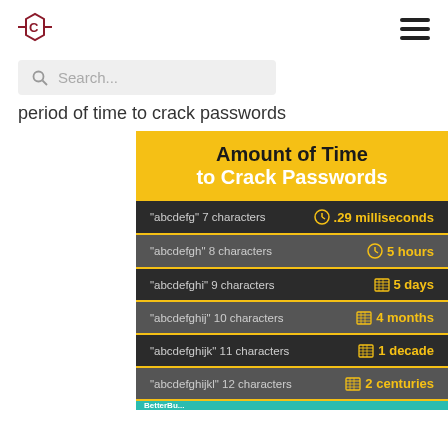[Figure (logo): Circuitous logo: a hexagon with a C inside and lines extending left and right]
Search...
period of time to crack passwords
[Figure (infographic): Infographic titled 'Amount of Time to Crack Passwords' showing 6 rows: 'abcdefg' 7 characters = .29 milliseconds, 'abcdefgh' 8 characters = 5 hours, 'abcdefghi' 9 characters = 5 days, 'abcdefghij' 10 characters = 4 months, 'abcdefghijk' 11 characters = 1 decade, 'abcdefghijkl' 12 characters = 2 centuries]